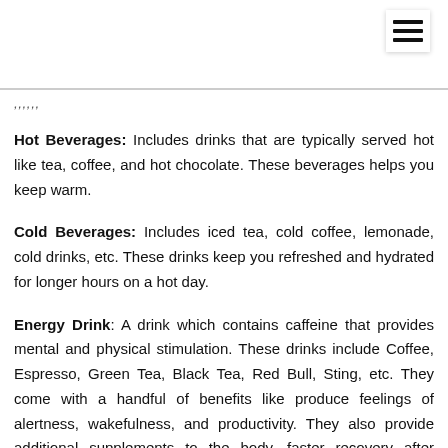,,,,,,
Hot Beverages: Includes drinks that are typically served hot like tea, coffee, and hot chocolate. These beverages helps you keep warm.
Cold Beverages: Includes iced tea, cold coffee, lemonade, cold drinks, etc. These drinks keep you refreshed and hydrated for longer hours on a hot day.
Energy Drink: A drink which contains caffeine that provides mental and physical stimulation. These drinks include Coffee, Espresso, Green Tea, Black Tea, Red Bull, Sting, etc. They come with a handful of benefits like produce feelings of alertness, wakefulness, and productivity. They also provide additional supplements to the body, faster recovery after exercise, any